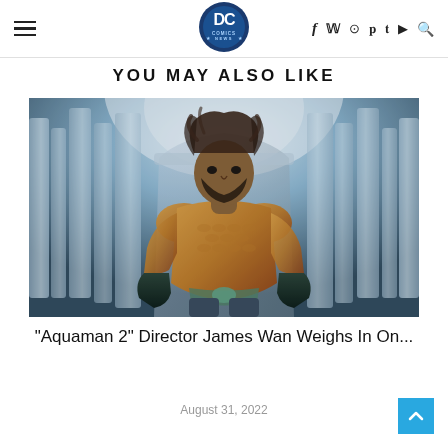DC Comics News — YOU MAY ALSO LIKE
YOU MAY ALSO LIKE
[Figure (photo): Aquaman character (Jason Momoa) seated on a throne in golden scale armor with dark gloves, surrounded by futuristic/underwater architectural elements in white/silver, dramatic lighting from above]
"Aquaman 2" Director James Wan Weighs In On...
August 31, 2022